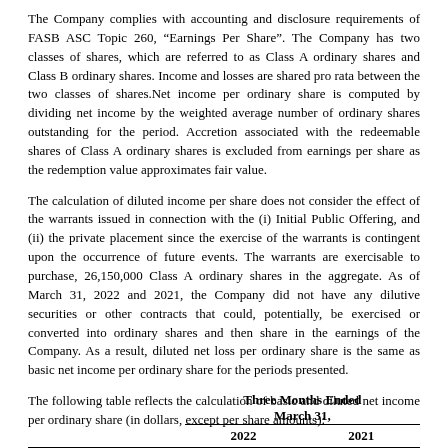The Company complies with accounting and disclosure requirements of FASB ASC Topic 260, “Earnings Per Share”. The Company has two classes of shares, which are referred to as Class A ordinary shares and Class B ordinary shares. Income and losses are shared pro rata between the two classes of shares.Net income per ordinary share is computed by dividing net income by the weighted average number of ordinary shares outstanding for the period. Accretion associated with the redeemable shares of Class A ordinary shares is excluded from earnings per share as the redemption value approximates fair value.
The calculation of diluted income per share does not consider the effect of the warrants issued in connection with the (i) Initial Public Offering, and (ii) the private placement since the exercise of the warrants is contingent upon the occurrence of future events. The warrants are exercisable to purchase, 26,150,000 Class A ordinary shares in the aggregate. As of March 31, 2022 and 2021, the Company did not have any dilutive securities or other contracts that could, potentially, be exercised or converted into ordinary shares and then share in the earnings of the Company. As a result, diluted net loss per ordinary share is the same as basic net income per ordinary share for the periods presented.
The following table reflects the calculation of basic and diluted net income per ordinary share (in dollars, except per share amounts):
|  | Three Months Ended March 31, 2022 | Three Months Ended March 31, 2021 |
| --- | --- | --- |